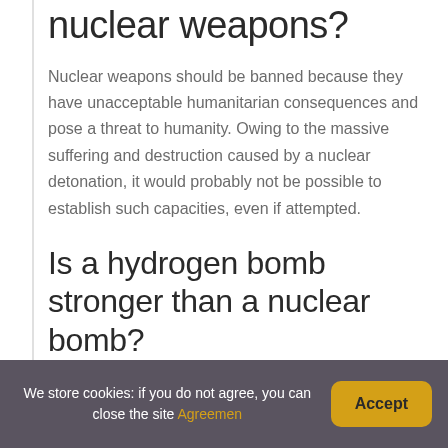nuclear weapons?
Nuclear weapons should be banned because they have unacceptable humanitarian consequences and pose a threat to humanity. Owing to the massive suffering and destruction caused by a nuclear detonation, it would probably not be possible to establish such capacities, even if attempted.
Is a hydrogen bomb stronger than a nuclear bomb?
But a hydrogen bomb has the potential to be 1,000 times more powerful than an atomic bomb, according to
We store cookies: if you do not agree, you can close the site Agreemen
Accept